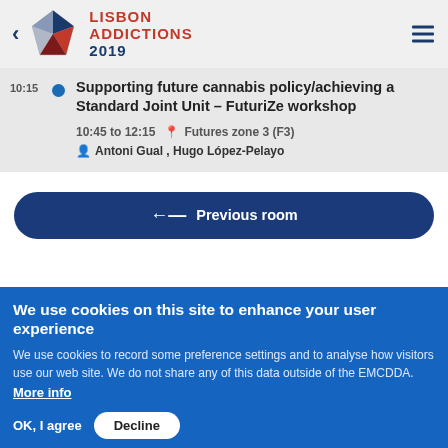LISBON ADDICTIONS 2019
Supporting future cannabis policy/achieving a Standard Joint Unit – FuturiZe workshop
10:45 to 12:15   Futures zone 3 (F3)   Antoni Gual , Hugo López-Pelayo
← Previous room
We use cookies on this site to enhance your user experience
We use cookies to record some preference settings and to analyse how visitors use our web site. We do not share any of this data outside of the EMCDDA. More info
OK, I agree   Decline